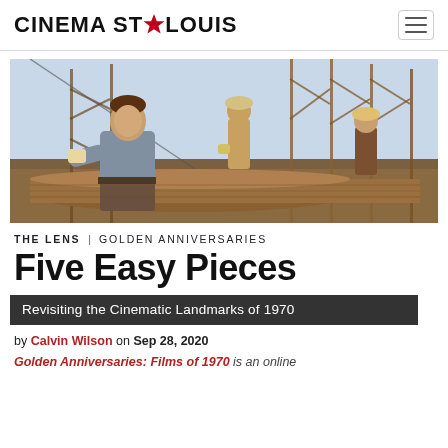CINEMA ST★LOUIS
[Figure (photo): A man in a grey work shirt crouches on an oil drilling rig, looking upward with an intense expression. Behind him are metal scaffolding structures and two other workers in hard hats.]
THE LENS | GOLDEN ANNIVERSARIES
Five Easy Pieces
Revisiting the Cinematic Landmarks of 1970
by Calvin Wilson on Sep 28, 2020
Golden Anniversaries: Films of 1970 is an online